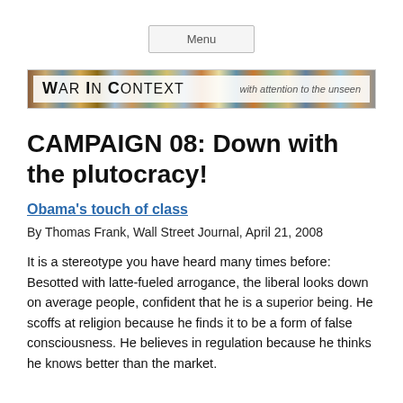Menu
[Figure (illustration): War in Context website banner with colorful mosaic background and white text area reading 'WAR IN CONTEXT' with tagline 'with attention to the unseen']
CAMPAIGN 08: Down with the plutocracy!
Obama's touch of class
By Thomas Frank, Wall Street Journal, April 21, 2008
It is a stereotype you have heard many times before: Besotted with latte-fueled arrogance, the liberal looks down on average people, confident that he is a superior being. He scoffs at religion because he finds it to be a form of false consciousness. He believes in regulation because he thinks he knows better than the market.